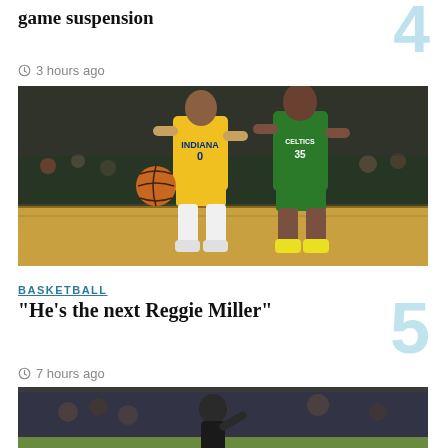game suspension
3 hours ago
[Figure (photo): Basketball game photo: Indiana Pacers player #0 in yellow uniform dribbling, defended by Boston Celtics player #35 in green uniform on an NBA court with crowd in background]
BASKETBALL
“He’s the next Reggie Miller”
7 hours ago
[Figure (photo): Baseball game photo showing players on a field, partially visible at bottom of page]